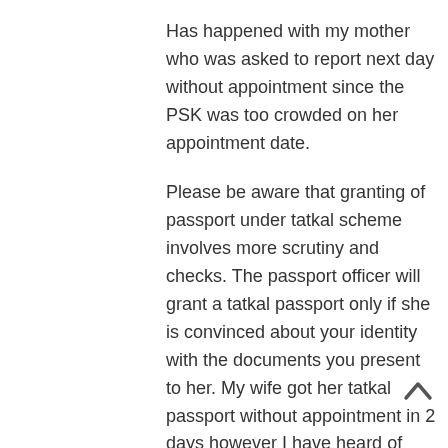Has happened with my mother who was asked to report next day without appointment since the PSK was too crowded on her appointment date.
Please be aware that granting of passport under tatkal scheme involves more scrutiny and checks. The passport officer will grant a tatkal passport only if she is convinced about your identity with the documents you present to her. My wife got her tatkal passport without appointment in 2 days however I have heard of cases where the passport was not granted under tatkal scheme and converted to normal scheme by passport officer. So you do have a risk of loosing the additional 2000/- that